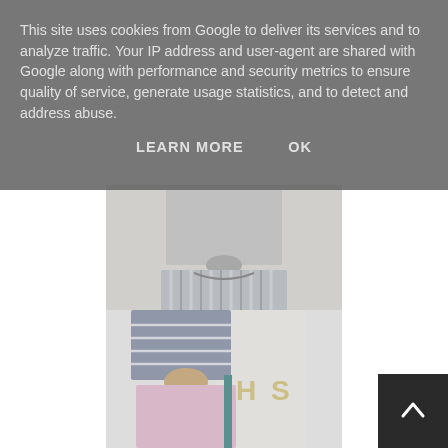This site uses cookies from Google to deliver its services and to analyze traffic. Your IP address and user-agent are shared with Google along with performance and security metrics to ensure quality of service, generate usage statistics, and to detect and address abuse.
LEARN MORE    OK
[Figure (photo): Photo of a person wearing a grey knotted top and grey and white striped wide-leg shorts, standing in front of a white door]
Scrap Pipit Lounge Shorts
[Figure (photo): Photo of a person wearing a striped top and pink/lavender lounge shorts, standing in front of a white door with decorative letters H and S]